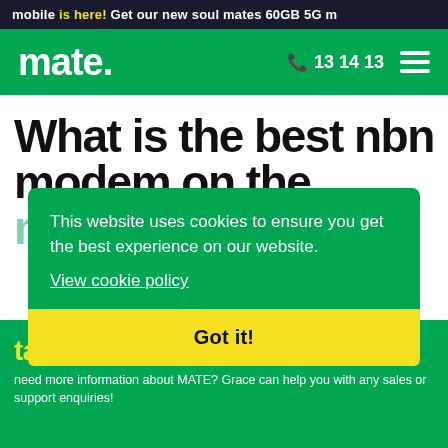mobile is here! Get our new soul mates 60GB 5G m
[Figure (screenshot): Mate telecom website navigation bar with green background, 'mate.' logo in white, phone number '13 14 13' and hamburger menu icon]
What is the best nbn modem on the market?
This website uses cookies to ensure you get the best experience on our website.
View cookie policy
Got it!
talk to our AI
need more information about MATE? Grace can help you with any sales or support enquiries!